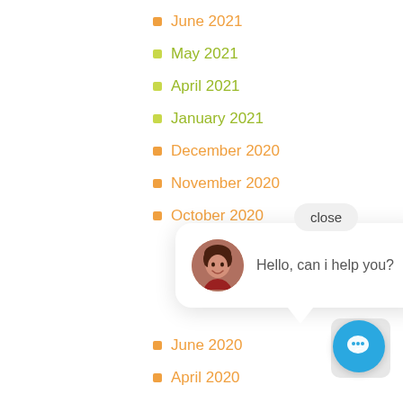June 2021
May 2021
April 2021
January 2021
December 2020
November 2020
October 2020
June 2020
April 2020
March 2020
[Figure (screenshot): Chat widget popup with avatar and message 'Hello, can i help you?' and a close button and chat icon button]